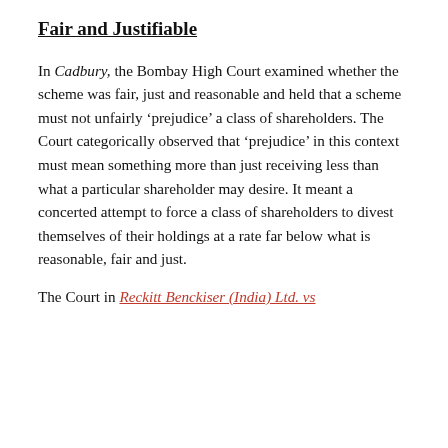Fair and Justifiable
In Cadbury, the Bombay High Court examined whether the scheme was fair, just and reasonable and held that a scheme must not unfairly ‘prejudice’ a class of shareholders. The Court categorically observed that ‘prejudice’ in this context must mean something more than just receiving less than what a particular shareholder may desire. It meant a concerted attempt to force a class of shareholders to divest themselves of their holdings at a rate far below what is reasonable, fair and just.
The Court in Reckitt Benckiser (India) Ltd. vs